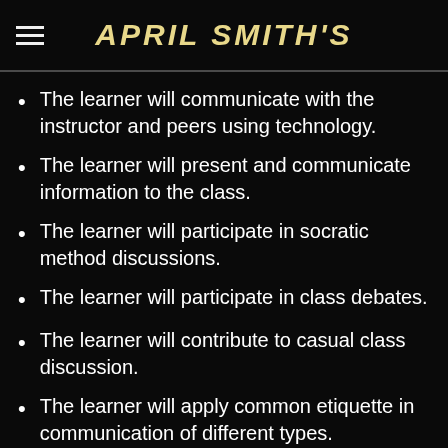APRIL SMITH'S
The learner will communicate with the instructor and peers using technology.
The learner will present and communicate information to the class.
The learner will participate in socratic method discussions.
The learner will participate in class debates.
The learner will contribute to casual class discussion.
The learner will apply common etiquette in communication of different types.
The learner will work with groups to breakdown tasks into small chunks.